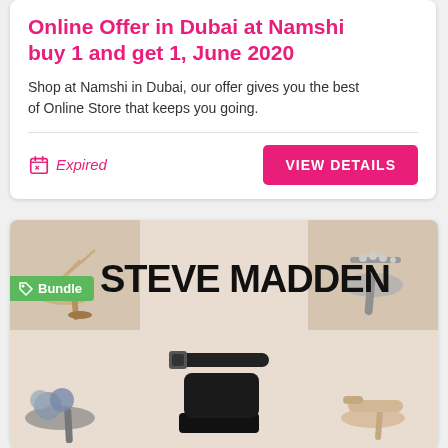Online Offer in Dubai at Namshi buy 1 and get 1, June 2020
Shop at Namshi in Dubai, our offer gives you the best of Online Store that keeps you going.
Expired
VIEW DETAILS
[Figure (photo): Steve Madden promotional image showing multiple women's high heel shoes — strappy gold sandals, embellished silver t-strap heels, black platform heels, grey pom-pom mules, and nude ankle strap heels. A green 'Bundle' tag is overlaid on the top-left area.]